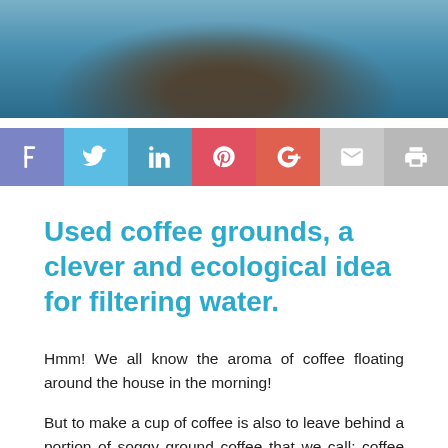[Figure (photo): Close-up photo of coffee brewing equipment with dark coffee and blue-toned water/glass elements visible from above]
[Figure (infographic): Social share buttons row: Facebook, Twitter, LinkedIn, Pinterest, Google+, Email, Print]
Used coffee grounds, a clever and ecological idea for filtering water.
Hmm! We all know the aroma of coffee floating around the house in the morning!
But to make a cup of coffee is also to leave behind a portion of soggy ground coffee that we call: coffee grounds. Often, the latter ends up in the trash. Isn't that what you think? But if we add up what comes out of